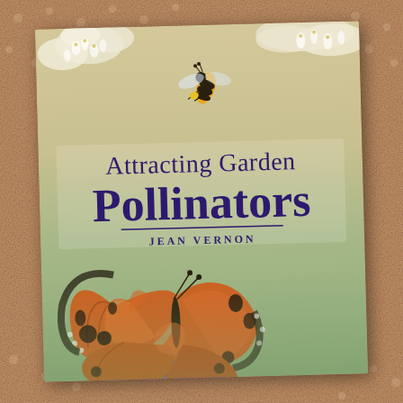[Figure (photo): A book cover for 'Attracting Garden Pollinators' by Jean Vernon, photographed lying on a burlap/fabric textured surface. The cover shows a honeybee near white flowers at the top, and a large tortoiseshell butterfly on purple flowers at the bottom. The background of the cover fades from floral imagery to a soft sage green. The title 'Attracting Garden Pollinators' is in dark purple serif font, with author name 'JEAN VERNON' in spaced capitals beneath a horizontal rule.]